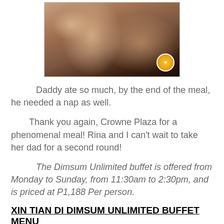[Figure (photo): A child sleeping on a man's chest/shoulder, both with eyes closed, close-up photo with warm tones. A small circular badge/watermark is visible in the bottom right corner.]
Daddy ate so much, by the end of the meal, he needed a nap as well.
Thank you again, Crowne Plaza for a phenomenal meal! Rina and I can't wait to take her dad for a second round!
The Dimsum Unlimited buffet is offered from Monday to Sunday, from 11:30am to 2:30pm, and is priced at P1,188 Per person.
XIN TIAN DI DIMSUM UNLIMITED BUFFET MENU
[Figure (photo): Bottom portion of a dark restaurant interior photo, partially visible at the bottom of the page.]